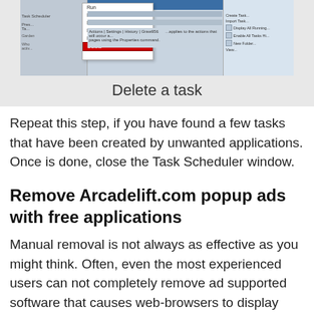[Figure (screenshot): Screenshot of Windows Task Scheduler showing a right-click context menu with 'Delete' option highlighted in red]
Delete a task
Repeat this step, if you have found a few tasks that have been created by unwanted applications. Once is done, close the Task Scheduler window.
Remove Arcadelift.com popup ads with free applications
Manual removal is not always as effective as you might think. Often, even the most experienced users can not completely remove ad supported software that causes web-browsers to display annoying Arcadelift.com ads. So, we recommend to scan your system for any remaining malicious components with free ad-